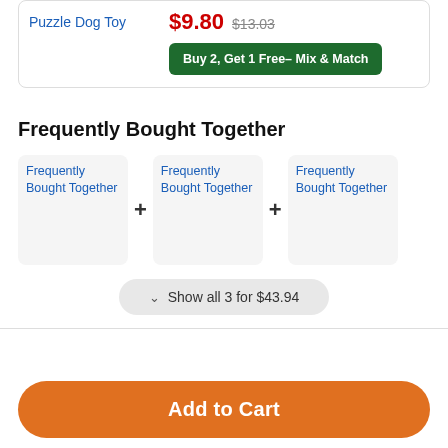Puzzle Dog Toy
$9.80 $13.03
Buy 2, Get 1 Free– Mix & Match
Frequently Bought Together
[Figure (other): Three 'Frequently Bought Together' product image placeholders with + signs between them]
Show all 3 for $43.94
Add to Cart